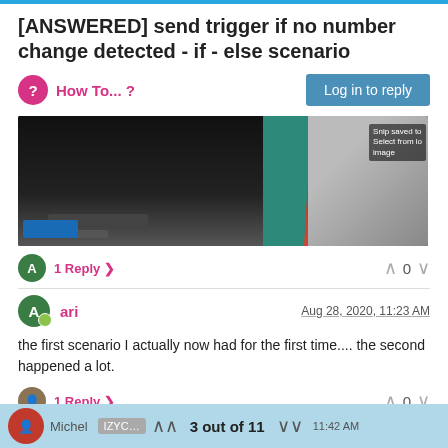[ANSWERED] send trigger if no number change detected - if - else scenario
How To... ?
[Figure (screenshot): Screenshot of a forum post with a dark background showing a video or application window with a red graphic element and a person figure on a teal/dark background]
1 Reply
0
ari
Aug 28, 2020, 11:23 AM
the first scenario I actually now had for the first time.... the second happened a lot.
1 Reply
0
3 out of 11